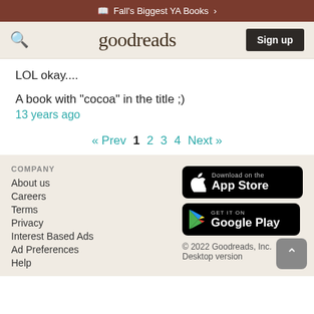Fall's Biggest YA Books >
goodreads  Sign up
LOL okay....
A book with "cocoa" in the title ;)
13 years ago
« Prev  1  2  3  4  Next »
COMPANY
About us
Careers
Terms
Privacy
Interest Based Ads
Ad Preferences
Help
[Figure (logo): Download on the App Store badge]
[Figure (logo): Get it on Google Play badge]
© 2022 Goodreads, Inc.
Desktop version